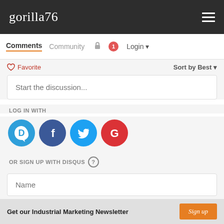gorilla76
Comments  Community  Login
Favorite  Sort by Best
Start the discussion...
LOG IN WITH
[Figure (logo): Social login icons: Disqus (blue), Facebook (dark blue), Twitter (cyan), Google (red/white)]
OR SIGN UP WITH DISQUS ?
Name
Get our Industrial Marketing Newsletter  Sign up